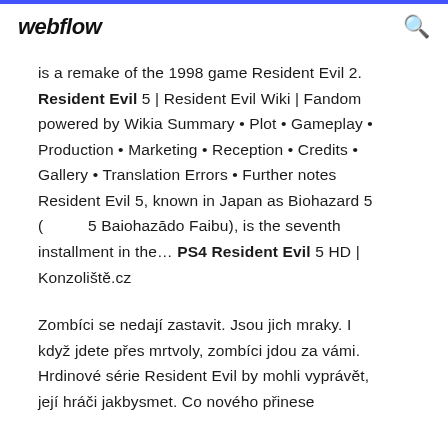webflow
is a remake of the 1998 game Resident Evil 2. Resident Evil 5 | Resident Evil Wiki | Fandom powered by Wikia Summary • Plot • Gameplay • Production • Marketing • Reception • Credits • Gallery • Translation Errors • Further notes Resident Evil 5, known in Japan as Biohazard 5 ( 5 Baiohazādo Faibu), is the seventh installment in the… PS4 Resident Evil 5 HD | Konzoliště.cz
Zombíci se nedají zastavit. Jsou jich mraky. I když jdete přes mrtvoly, zombíci jdou za vámi. Hrdinové série Resident Evil by mohli vyprávět, její hráči jakbysmet. Co nového přinese